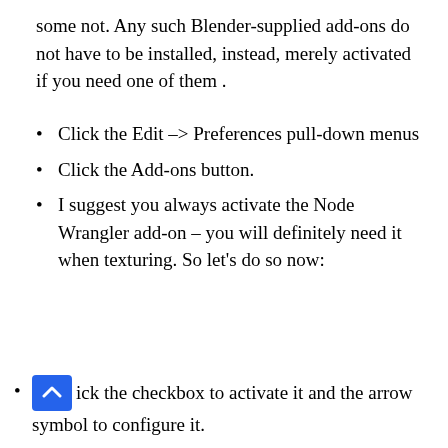some not. Any such Blender-supplied add-ons do not have to be installed, instead, merely activated if you need one of them .
Click the Edit -> Preferences pull-down menus
Click the Add-ons button.
I suggest you always activate the Node Wrangler add-on – you will definitely need it when texturing. So let’s do so now:
ick the checkbox to activate it and the arrow symbol to configure it.